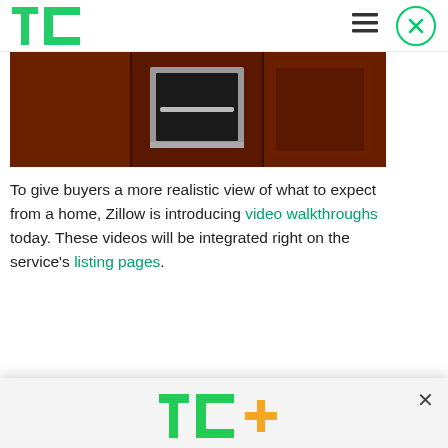TechCrunch logo, hamburger menu, close button
[Figure (photo): Kitchen interior with wooden cabinets and built-in stainless steel oven/microwave]
To give buyers a more realistic view of what to expect from a home, Zillow is introducing video walkthroughs today. These videos will be integrated right on the service's listing pages.
According to the company, the listing pages...
[Figure (infographic): TC+ promotional modal overlay with logo, headline 'Building a startup or looking for your next deal? We have you covered.' and EXPLORE NOW button]